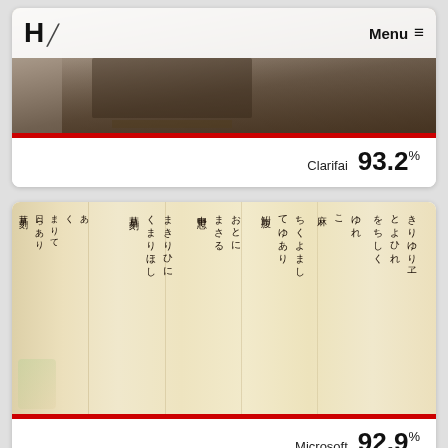[Figure (screenshot): Website screenshot showing a header with H logo and Menu button, followed by two content cards. First card shows a dark architectural/landscape image with a red bottom bar and Clarifai 93.2% score. Second card shows a Japanese calligraphy scroll image with a red bottom bar and Microsoft 92.9% score.]
Clarifai  93.2%
Microsoft  92.9%